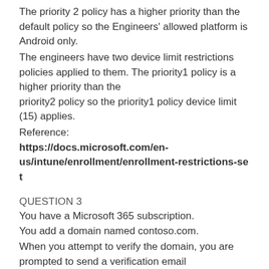The priority 2 policy has a higher priority than the default policy so the Engineers' allowed platform is Android only.
The engineers have two device limit restrictions policies applied to them. The priority1 policy is a higher priority than the priority2 policy so the priority1 policy device limit (15) applies.
Reference:
https://docs.microsoft.com/en-us/intune/enrollment/enrollment-restrictions-set
QUESTION 3
You have a Microsoft 365 subscription.
You add a domain named contoso.com.
When you attempt to verify the domain, you are prompted to send a verification email